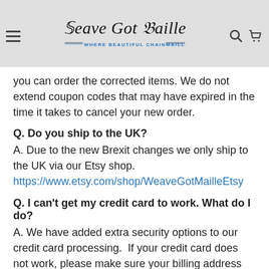Weave Got Maille — WHERE BEAUTIFUL CHAINMAILLE BEGINS
you can order the corrected items. We do not extend coupon codes that may have expired in the time it takes to cancel your new order.
Q. Do you ship to the UK?
A. Due to the new Brexit changes we only ship to the UK via our Etsy shop. https://www.etsy.com/shop/WeaveGotMailleEtsy
Q. I can't get my credit card to work. What do I do?
A. We have added extra security options to our credit card processing.  If your credit card does not work, please make sure your billing address matches what the card issuing bank has on file for you.  You may need to contact your bank to verify your address. If your payment still won't go through, then you will need to use another form of